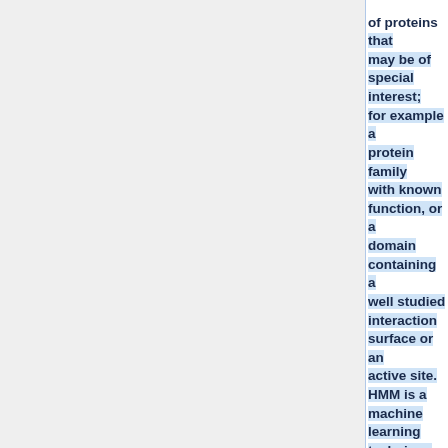of proteins that may be of special interest; for example a protein family with known function, or a domain containing a well studied interaction surface or an active site. HMM is a machine learning technique [http://en.wikipedia.org/wiki/Hidden_Markov_model] where the models are built from training